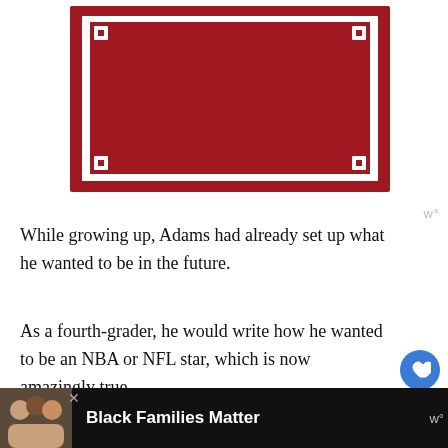[Figure (illustration): Stop Asian Hate graphic: bold red text reading 'ASIAN HATE' inside a decorative red border with chain-link corner designs on a white background.]
While growing up, Adams had already set up what he wanted to be in the future.
As a fourth-grader, he would write how he wanted to be an NBA or NFL star, which is now amazingly true.
Likewise, during his high school years, he was on
[Figure (infographic): Black advertisement bar at the bottom showing a family photo on the left, bold white text 'Black Families Matter', a close (X) button, and a Wealthsimple watermark logo.]